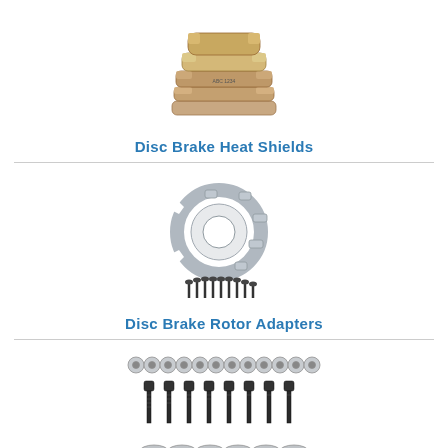[Figure (photo): Stack of disc brake heat shields (copper/bronze colored brake pad backing plates)]
Disc Brake Heat Shields
[Figure (photo): Disc brake rotor adapter ring with bolts/screws below it]
Disc Brake Rotor Adapters
[Figure (photo): Hardware kit with nuts, bolts, and washers for disc brake assembly]